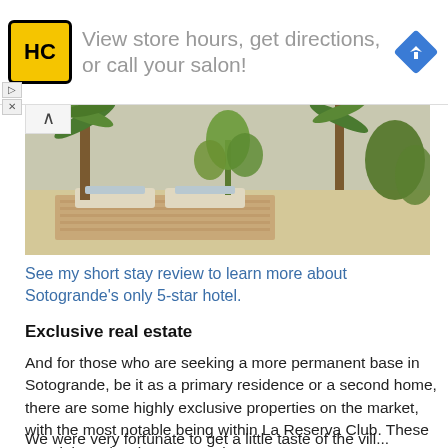[Figure (screenshot): Advertisement banner: HC logo (yellow square with black border), text 'View store hours, get directions, or call your salon!', and a blue diamond arrow navigation icon. Collapse/close controls on the left.]
[Figure (photo): Outdoor pool/terrace area with palm trees, loungers, and tropical plants at what appears to be La Reserva Club, Sotogrande.]
See my short stay review to learn more about Sotogrande's only 5-star hotel.
Exclusive real estate
And for those who are seeking a more permanent base in Sotogrande, be it as a primary residence or a second home, there are some highly exclusive properties on the market, with the most notable being within La Reserva Club. These prestigious developments enjoy access to La Reserva's high-end amenities whilst still retaining privacy
We were very fortunate to get a little taste of the vill...